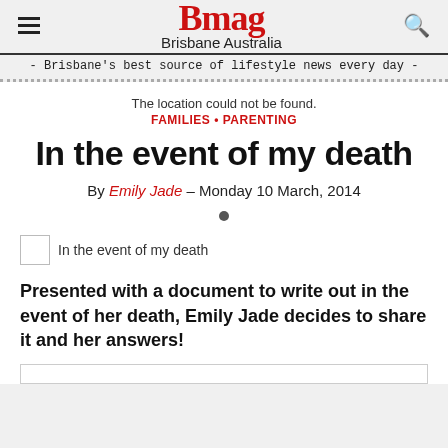Bmag Brisbane Australia - Brisbane's best source of lifestyle news every day -
The location could not be found.
FAMILIES • PARENTING
In the event of my death
By Emily Jade – Monday 10 March, 2014
In the event of my death
Presented with a document to write out in the event of her death, Emily Jade decides to share it and her answers!